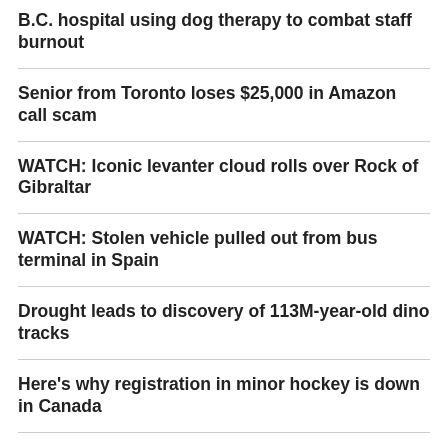B.C. hospital using dog therapy to combat staff burnout
Senior from Toronto loses $25,000 in Amazon call scam
WATCH: Iconic levanter cloud rolls over Rock of Gibraltar
WATCH: Stolen vehicle pulled out from bus terminal in Spain
Drought leads to discovery of 113M-year-old dino tracks
Here's why registration in minor hockey is down in Canada
B.C. girl will tee off as youngest golfer in CP Women's